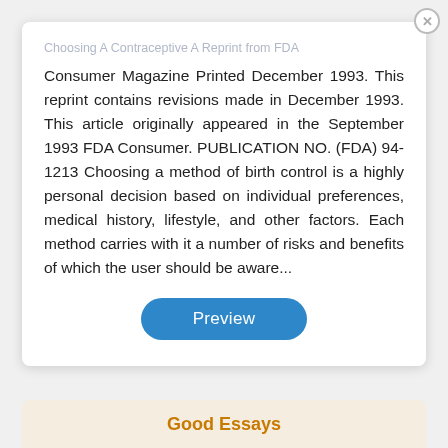Choosing A Contraceptive A Reprint from FDA Consumer Magazine Printed December 1993.
This reprint contains revisions made in December 1993. This article originally appeared in the September 1993 FDA Consumer. PUBLICATION NO. (FDA) 94-1213 Choosing a method of birth control is a highly personal decision based on individual preferences, medical history, lifestyle, and other factors. Each method carries with it a number of risks and benefits of which the user should be aware...
[Figure (other): Blue rounded rectangle Preview button]
Good Essays